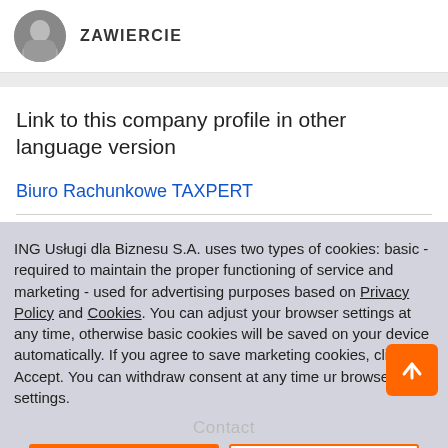[Figure (photo): Circular avatar photo in black and white showing a person]
ZAWIERCIE
Link to this company profile in other language version
Biuro Rachunkowe TAXPERT
ING Usługi dla Biznesu S.A. uses two types of cookies: basic - required to maintain the proper functioning of service and marketing - used for advertising purposes based on Privacy Policy and Cookies. You can adjust your browser settings at any time, otherwise basic cookies will be saved on your device automatically. If you agree to save marketing cookies, click Accept. You can withdraw consent at any time ur browser settings.
Contact
Accept
Close